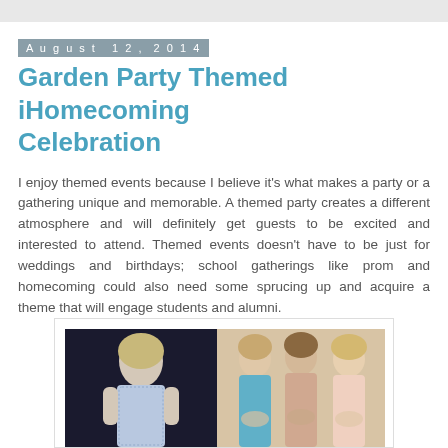August 12, 2014
Garden Party Themed iHomecoming Celebration
I enjoy themed events because I believe it's what makes a party or a gathering unique and memorable. A themed party creates a different atmosphere and will definitely get guests to be excited and interested to attend. Themed events doesn't have to be just for weddings and birthdays; school gatherings like prom and homecoming could also need some sprucing up and acquire a theme that will engage students and alumni.
[Figure (photo): Two photos side by side: left photo shows a young blonde woman in a light blue/lavender sleeveless gown against a dark background; right photo shows three young women in colorful formal dresses posing together.]